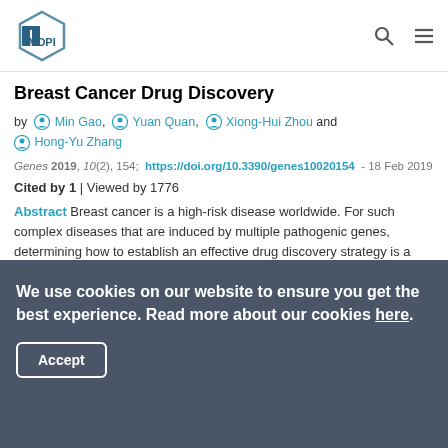MDPI
Breast Cancer Drug Discovery
by Min Gao, Yuan Quan, Xiong-Hui Zhou and Hong-Yu Zhang
Genes 2019, 10(2), 154; https://doi.org/10.3390/genes10020154 - 18 Feb 2019
Cited by 1 | Viewed by 1776
Abstract Breast cancer is a high-risk disease worldwide. For such complex diseases that are induced by multiple pathogenic genes, determining how to establish an effective drug discovery strategy is a challenge. In recent years, a large amount of genetic data has accumulated, particularly in [...] Read more.
(This article belongs to the Section Technologies and Resources for
We use cookies on our website to ensure you get the best experience. Read more about our cookies here.
Accept